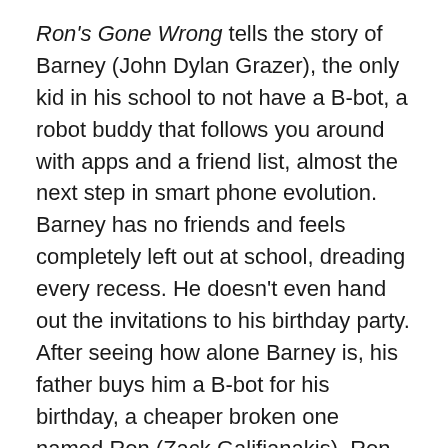Ron's Gone Wrong tells the story of Barney (John Dylan Grazer), the only kid in his school to not have a B-bot, a robot buddy that follows you around with apps and a friend list, almost the next step in smart phone evolution. Barney has no friends and feels completely left out at school, dreading every recess. He doesn't even hand out the invitations to his birthday party. After seeing how alone Barney is, his father buys him a B-bot for his birthday, a cheaper broken one named Ron (Zack Galifianakis). Ron and Barney learn about each other while they form a bond closer than most people have with their B-bots.
The animation in this film is simply gorgeous. Locksmith Animation have truly achieved their aim of living up to the high animated productions of the bigger studios around the world. It would be easy to believe that this is the latest